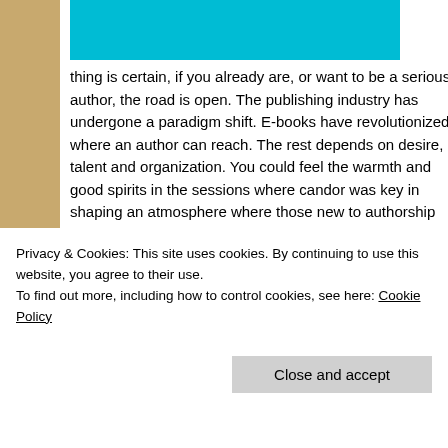[Figure (photo): Cyan/teal colored rectangular image block at top left of the content card]
thing is certain, if you already are, or want to be a serious author, the road is open. The publishing industry has undergone a paradigm shift. E-books have revolutionized where an author can reach. The rest depends on desire, talent and organization. You could feel the warmth and good spirits in the sessions where candor was key in shaping an atmosphere where those new to authorship could find a leg up, and old guys like me, who have published in traditional houses could find a a boat load of information and encouragement to reinvent.
[Figure (photo): Partial photo of a woman with red/brown hair outdoors among trees]
Privacy & Cookies: This site uses cookies. By continuing to use this website, you agree to their use.
To find out more, including how to control cookies, see here: Cookie Policy
Close and accept